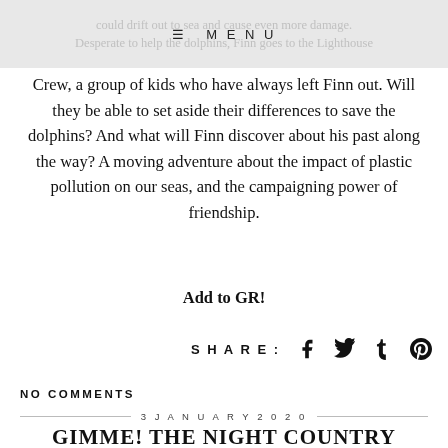≡ MENU
could drift out to sea and cause even more damage. Desperate to help the dolphins, Finn goes to the Lighthouse Crew, a group of kids who have always left Finn out. Will they be able to set aside their differences to save the dolphins? And what will Finn discover about his past along the way? A moving adventure about the impact of plastic pollution on our seas, and the campaigning power of friendship.
Add to GR!
SHARE:
NO COMMENTS
3 JANUARY 2020
GIMME! THE NIGHT COUNTRY